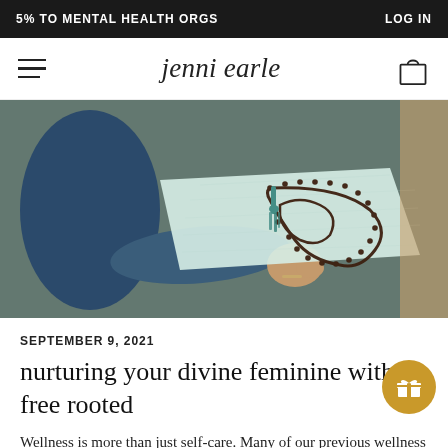5% TO MENTAL HEALTH ORGS    LOG IN
[Figure (logo): Jenni Earle brand logo with hamburger menu and shopping bag icon]
[Figure (photo): Person meditating in blue clothing on a grey yoga mat next to a mala bead necklace on a white cloth]
SEPTEMBER 9, 2021
nurturing your divine feminine with be free rooted
Wellness is more than just self-care. Many of our previous wellness posts and tips focus on